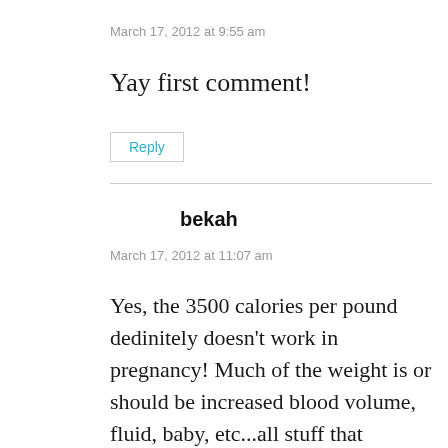March 17, 2012 at 9:55 am
Yay first comment!
Reply
bekah
March 17, 2012 at 11:07 am
Yes, the 3500 calories per pound dedinitely doesn't work in pregnancy! Much of the weight is or should be increased blood volume, fluid, baby, etc...all stuff that happens due to pregnancy hormones regardless of how many cals you consume.